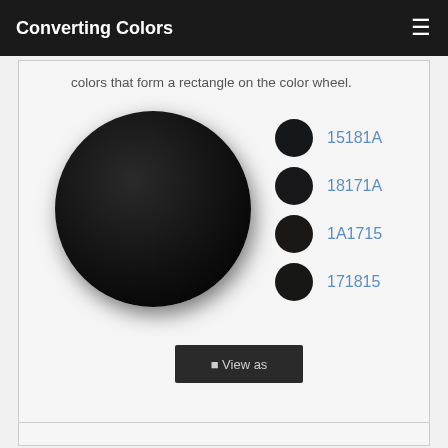Converting Colors
colors that form a rectangle on the color wheel.
[Figure (illustration): Large dark circle (near-black) on light gray background, with four smaller dark circle swatches to the right labeled 15181A, 18171A, 1A1715, 171815 in blue text]
☰ View as